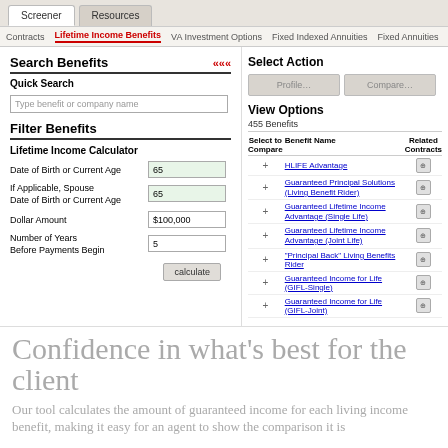Screener | Resources
Contracts | Lifetime Income Benefits | VA Investment Options | Fixed Indexed Annuities | Fixed Annuities
Search Benefits <<<
Quick Search
Type benefit or company name
Filter Benefits
Lifetime Income Calculator
Date of Birth or Current Age: 65
If Applicable, Spouse Date of Birth or Current Age: 65
Dollar Amount: $100,000
Number of Years Before Payments Begin: 5
calculate
Select Action
Profile... | Compare...
View Options
455 Benefits
| Select to Compare | Benefit Name | Related Contracts |
| --- | --- | --- |
| + | HLIFE Advantage | icon |
| + | Guaranteed Principal Solutions (Living Benefit Rider) | icon |
| + | Guaranteed Lifetime Income Advantage (Single Life) | icon |
| + | Guaranteed Lifetime Income Advantage (Joint Life) | icon |
| + | "Principal Back" Living Benefits Rider | icon |
| + | Guaranteed Income for Life (GIFL-Single) | icon |
| + | Guaranteed Income for Life (GIFL-Joint) | icon |
Confidence in what’s best for the client
Our tool calculates the amount of guaranteed income for each living income benefit, making it easy for an agent to show the comparison it is